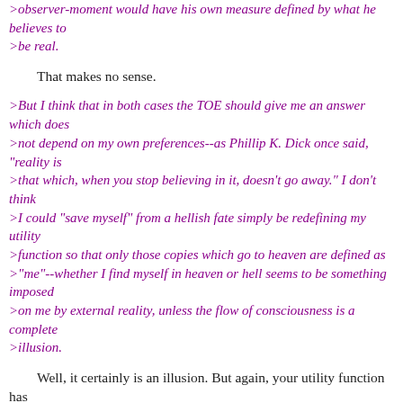>observer-moment would have his own measure defined by what he believes to
>be real.
That makes no sense.
>But I think that in both cases the TOE should give me an answer which does
>not depend on my own preferences--as Phillip K. Dick once said, "reality is
>that which, when you stop believing in it, doesn't go away." I don't think
>I could "save myself" from a hellish fate simply be redefining my utility
>function so that only those copies which go to heaven are defined as
>"me"--whether I find myself in heaven or hell seems to be something imposed
>on me by external reality, unless the flow of consciousness is a complete
>illusion.
Well, it certainly is an illusion. But again, your utility function has
nothing to do with it. You really have no control over your utility